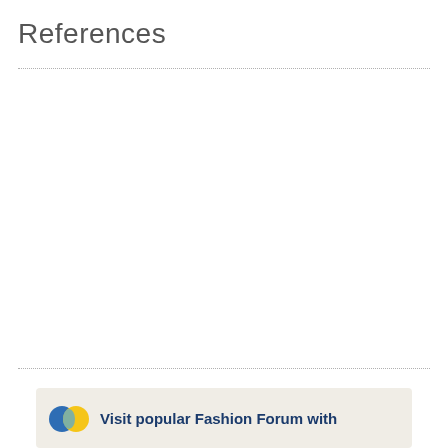References
[Figure (other): Advertisement banner with logo and text: Visit popular Fashion Forum with]